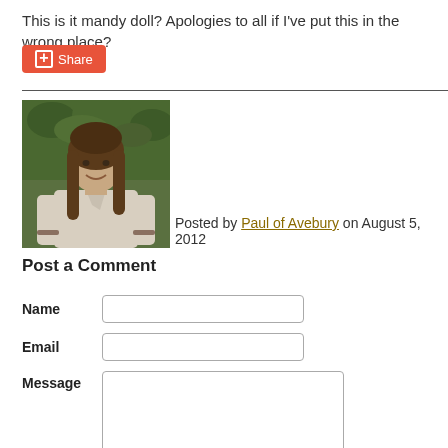This is it mandy doll? Apologies to all if I've put this in the wrong place?
[Figure (other): Share button with orange background and plus icon]
[Figure (photo): Photo of a person with long brown hair wearing a light-colored shirt, outdoors with green foliage in background]
Posted by Paul of Avebury on August 5, 2012
Post a Comment
Name [input field]
Email [input field]
Message [textarea]